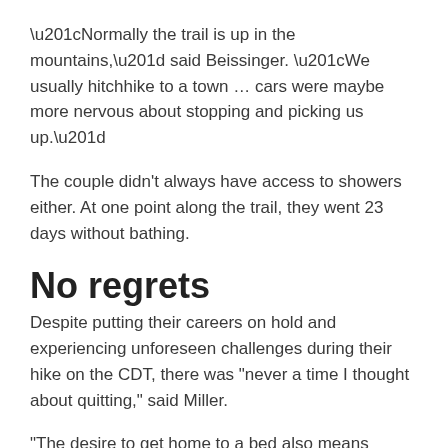“Normally the trail is up in the mountains,” said Beissinger. “We usually hitchhike to a town … cars were maybe more nervous about stopping and picking us up.”
The couple didn’t always have access to showers either. At one point along the trail, they went 23 days without bathing.
No regrets
Despite putting their careers on hold and experiencing unforeseen challenges during their hike on the CDT, there was “never a time I thought about quitting,” said Miller.
“The desire to get home to a bed also means responsibilities of not being on a trail and being away from that beauty,” said Beissinger.